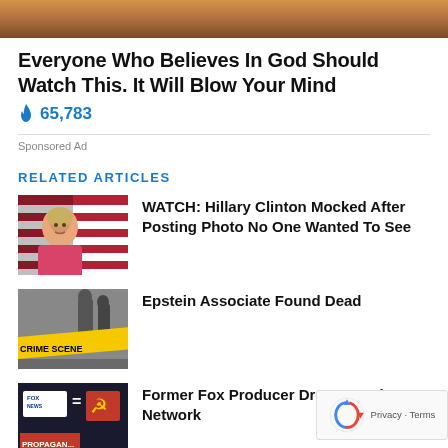[Figure (photo): Top banner image showing a dramatic sky/sunset scene in orange and amber tones]
Everyone Who Believes In God Should Watch This. It Will Blow Your Mind
🔥 65,783
Sponsored Ad
RELATED ARTICLES
[Figure (photo): Thumbnail of Hillary Clinton in pink jacket against American flag background]
WATCH: Hillary Clinton Mocked After Posting Photo No One Wanted To See
[Figure (photo): Thumbnail showing crime scene tape with CRIME SCENE text, dark background]
Epstein Associate Found Dead
[Figure (photo): Thumbnail showing Fox News logo with propaganda imagery and red symbols]
Former Fox Producer Drops Bomb On Network